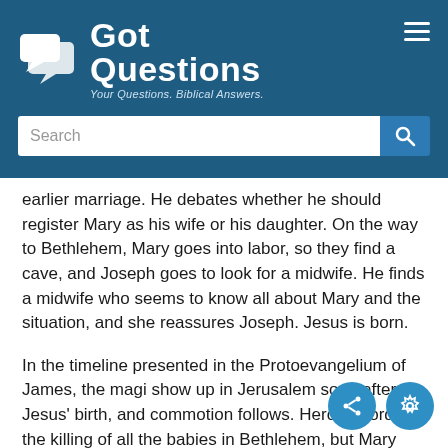[Figure (logo): GotQuestions logo with speech bubble icons and tagline 'Your Questions. Biblical Answers.']
earlier marriage. He debates whether he should register Mary as his wife or his daughter. On the way to Bethlehem, Mary goes into labor, so they find a cave, and Joseph goes to look for a midwife. He finds a midwife who seems to know all about Mary and the situation, and she reassures Joseph. Jesus is born.
In the timeline presented in the Protoevangelium of James, the magi show up in Jerusalem soon after Jesus' birth, and commotion follows. Herod orders the killing of all the babies in Bethlehem, but Mary